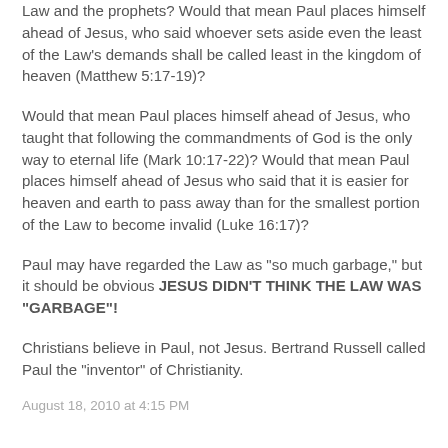Law and the prophets? Would that mean Paul places himself ahead of Jesus, who said whoever sets aside even the least of the Law's demands shall be called least in the kingdom of heaven (Matthew 5:17-19)?
Would that mean Paul places himself ahead of Jesus, who taught that following the commandments of God is the only way to eternal life (Mark 10:17-22)? Would that mean Paul places himself ahead of Jesus who said that it is easier for heaven and earth to pass away than for the smallest portion of the Law to become invalid (Luke 16:17)?
Paul may have regarded the Law as "so much garbage," but it should be obvious JESUS DIDN'T THINK THE LAW WAS "GARBAGE"!
Christians believe in Paul, not Jesus. Bertrand Russell called Paul the "inventor" of Christianity.
August 18, 2010 at 4:15 PM